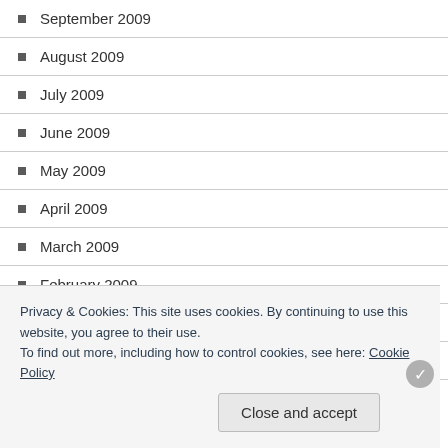September 2009
August 2009
July 2009
June 2009
May 2009
April 2009
March 2009
February 2009
January 2009
December 2008
November 2008
Privacy & Cookies: This site uses cookies. By continuing to use this website, you agree to their use. To find out more, including how to control cookies, see here: Cookie Policy